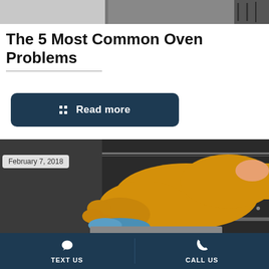[Figure (photo): Partial photo at top of page showing a dark interior scene]
The 5 Most Common Oven Problems
[Figure (other): Dark navy Read more button with grid icon]
[Figure (photo): Photo of a hand in a yellow rubber glove cleaning the inside of an oven with a blue cloth]
February 7, 2018
TEXT US   CALL US